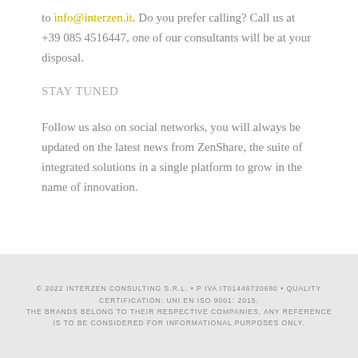to info@interzen.it. Do you prefer calling? Call us at +39 085 4516447, one of our consultants will be at your disposal.
STAY TUNED
Follow us also on social networks, you will always be updated on the latest news from ZenShare, the suite of integrated solutions in a single platform to grow in the name of innovation.
© 2022 INTERZEN CONSULTING S.R.L. • P IVA IT01446720680 • QUALITY CERTIFICATION: UNI EN ISO 9001: 2015. THE BRANDS BELONG TO THEIR RESPECTIVE COMPANIES, ANY REFERENCE IS TO BE CONSIDERED FOR INFORMATIONAL PURPOSES ONLY.